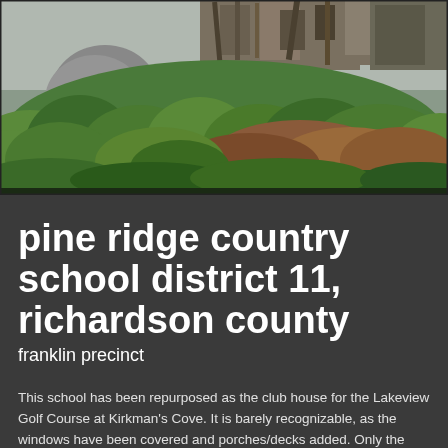[Figure (photo): Photograph of an overgrown abandoned school building, partially hidden by dense green and reddish-brown vegetation and shrubs, with weathered wooden structural elements visible in the upper portion.]
pine ridge country school district 11, richardson county
franklin precinct
This school has been repurposed as the club house for the Lakeview Golf Course at Kirkman's Cove.  It is barely recognizable, as the windows have been covered and porches/decks added.  Only the